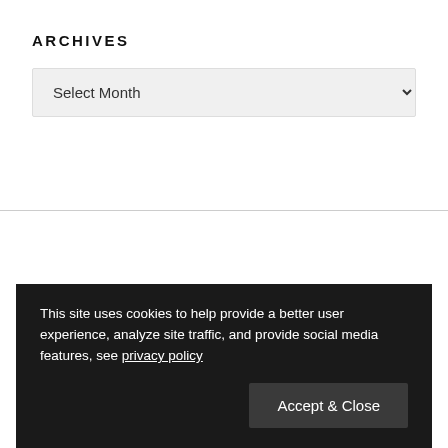ARCHIVES
Select Month
Search ...
This site uses cookies to help provide a better user experience, analyze site traffic, and provide social media features, see privacy policy
Accept & Close